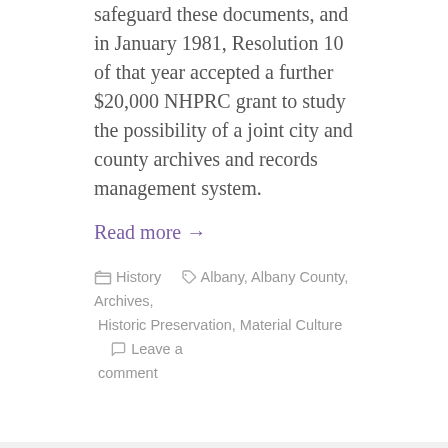safeguard these documents, and in January 1981, Resolution 10 of that year accepted a further $20,000 NHPRC grant to study the possibility of a joint city and county archives and records management system.
Read more →
History   Albany, Albany County, Archives, Historic Preservation, Material Culture   Leave a comment
NYS Archives Hackman Research Residency